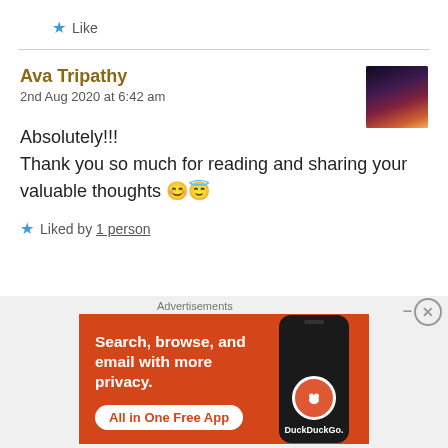★ Like
Ava Tripathy
2nd Aug 2020 at 6:42 am
Absolutely!!!
Thank you so much for reading and sharing your valuable thoughts 😊😇
★ Liked by 1 person
Advertisements
[Figure (screenshot): DuckDuckGo advertisement banner: orange background with text 'Search, browse, and email with more privacy. All in One Free App' and a phone image with DuckDuckGo logo]